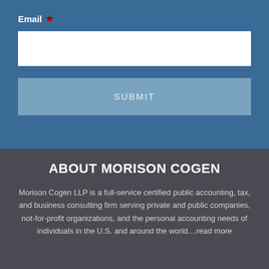Email *
[Figure (screenshot): Email input field (white rectangle) for user to enter email address]
SUBMIT
ABOUT MORISON COGEN
Morison Cogen LLP is a full-service certified public accounting, tax, and business consulting firm serving private and public companies, not-for-profit organizations, and the personal accounting needs of individuals in the U.S. and around the world....read more